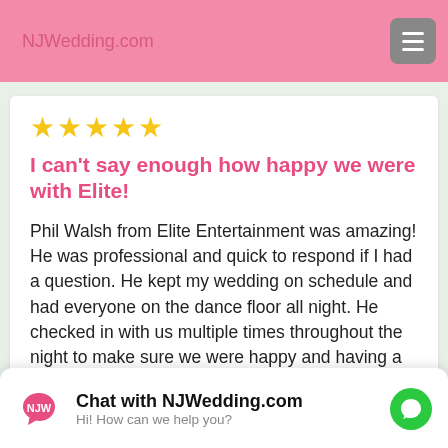NJWedding.com
[Figure (other): Five yellow star rating icons]
I can't say enough how happy we were with Elite!
Phil Walsh from Elite Entertainment was amazing! He was professional and quick to respond if I had a question. He kept my wedding on schedule and had everyone on the dance floor all night. He checked in with us multiple times throughout the night to make sure we were happy and having a great time. My ... kind of music I wanted for the event. He
Chat with NJWedding.com
Hi! How can we help you?